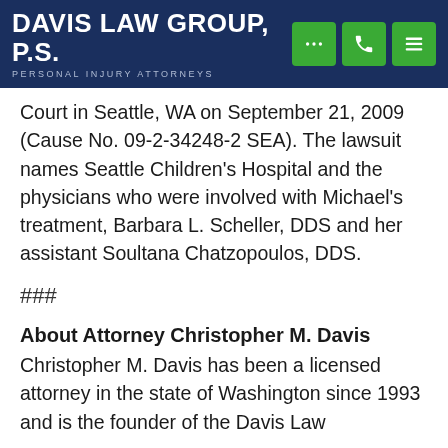Davis Law Group, P.S. — Personal Injury Attorneys
Court in Seattle, WA on September 21, 2009 (Cause No. 09-2-34248-2 SEA).  The lawsuit names Seattle Children's Hospital and the physicians who were involved with Michael's treatment, Barbara L. Scheller, DDS and her assistant Soultana Chatzopoulos, DDS.
###
About Attorney Christopher M. Davis
Christopher M. Davis has been a licensed attorney in the state of Washington since 1993 and is the founder of the Davis Law